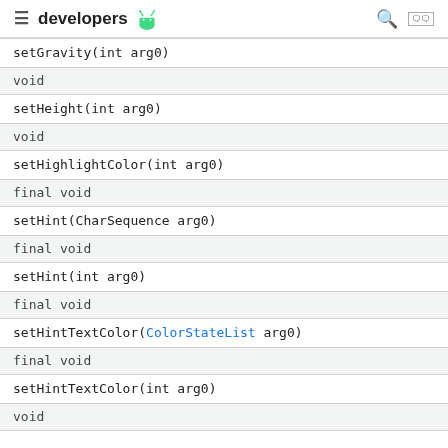developers
| Return type | Method |
| --- | --- |
| setGravity(int arg0) |  |
| void |  |
| setHeight(int arg0) |  |
| void |  |
| setHighlightColor(int arg0) |  |
| final void |  |
| setHint(CharSequence arg0) |  |
| final void |  |
| setHint(int arg0) |  |
| final void |  |
| setHintTextColor(ColorStateList arg0) |  |
| final void |  |
| setHintTextColor(int arg0) |  |
| void |  |